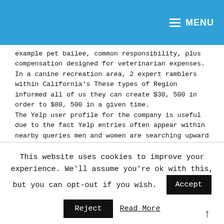MENU
example pet bailee, common responsibility, plus compensation designed for veterinarian expenses. In a canine recreation area, 2 expert ramblers within California's These types of Region informed all of us they can create $30, 500 in order to $80, 500 in a given time.
The Yelp user profile for the company is useful due to the fact Yelp entries often appear within nearby queries men and women are searching upward close by canine ramblers or even family pet sitters on the mobile phones. It takes only a couple of minutes to create the user profile, plus it's totally free. Be sure to checklist your own telephone number,
This website uses cookies to improve your experience. We'll assume you're ok with this, but you can opt-out if you wish.
Accept
Reject
Read More